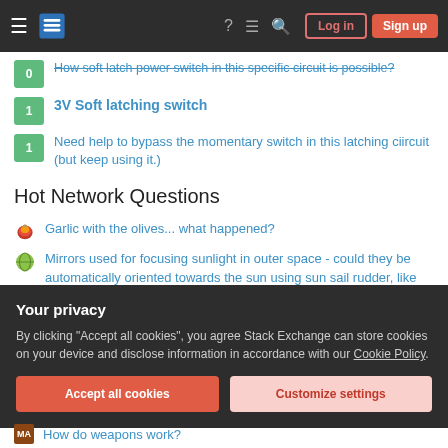Stack Exchange — Log in / Sign up
0 — How soft latch power switch in this specific circuit is possible?
1 — 3V Soft latching switch
1 — Need help to bypass the momentary switch in this latching ciircuit (but keep using it.)
Hot Network Questions
Garlic with the olives... what happened?
Mirrors used for focusing sunlight in outer space - could they be automatically oriented towards the sun using sun sail rudder, like windmill rudder?
change/edit FASTA headers
Your privacy
By clicking "Accept all cookies", you agree Stack Exchange can store cookies on your device and disclose information in accordance with our Cookie Policy.
How do weapons work?